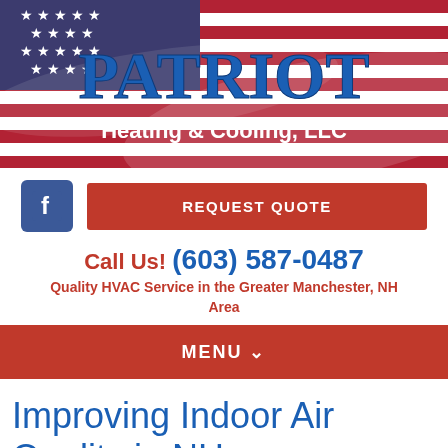[Figure (logo): Patriot Heating & Cooling, LLC logo with American flag background. Blue 'PATRIOT' text and white 'Heating & Cooling, LLC' text on red/white/blue flag banner.]
[Figure (logo): Facebook icon - blue square with white 'f' letter]
REQUEST QUOTE
Call Us! (603) 587-0487
Quality HVAC Service in the Greater Manchester, NH Area
MENU ▾
Improving Indoor Air Quality in NH